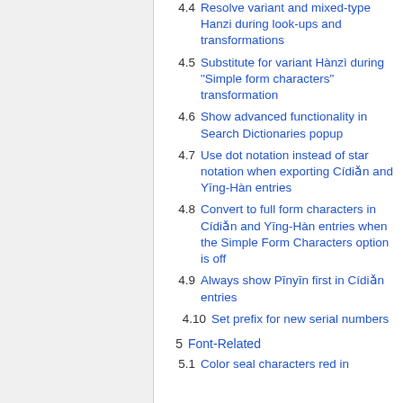4.4 Resolve variant and mixed-type Hanzi during look-ups and transformations
4.5 Substitute for variant Hànzì during “Simple form characters” transformation
4.6 Show advanced functionality in Search Dictionaries popup
4.7 Use dot notation instead of star notation when exporting Cídiǎn and Yīng-Hàn entries
4.8 Convert to full form characters in Cídiǎn and Yīng-Hàn entries when the Simple Form Characters option is off
4.9 Always show Pīnyīn first in Cídiǎn entries
4.10 Set prefix for new serial numbers
5 Font-Related
5.1 Color seal characters red in